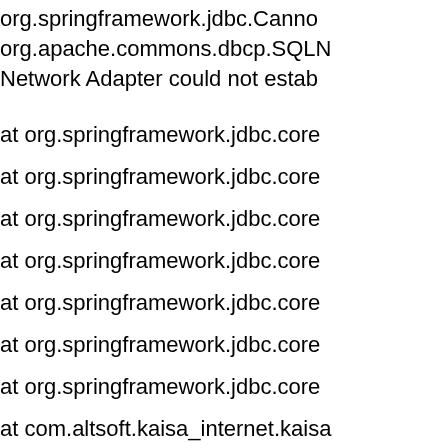org.springframework.jdbc.Canno
org.apache.commons.dbcp.SQLN
Network Adapter could not estab
at org.springframework.jdbc.core
at org.springframework.jdbc.core
at org.springframework.jdbc.core
at org.springframework.jdbc.core
at org.springframework.jdbc.core
at org.springframework.jdbc.core
at org.springframework.jdbc.core
at com.altsoft.kaisa_internet.kaisa
at com.altsoft.kaisa_internet.kaisa
at sun.reflect.GeneratedMethodA
at sun.reflect.DelegatingMethodA
at org.springframework.jdbc.core